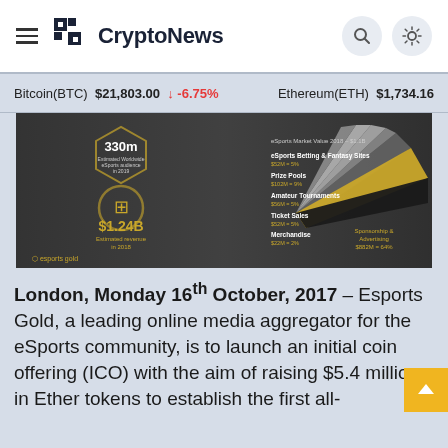CryptoNews
Bitcoin(BTC) $21,803.00 ↓ -6.75%   Ethereum(ETH) $1,734.16
[Figure (infographic): eSports Gold infographic showing $1.24B estimated revenue in 2018, 330m estimated worldwide eSports audience in 2019, with breakdown: eSports Betting & Fantasy Sites $52M=5%, Prize Pools $102M=9%, Amateur Tournaments $56M=5%, Ticket Sales $52M=5%, Merchandise $22M=2%, Sponsorship & Advertising $882M=64%]
London, Monday 16th October, 2017 – Esports Gold, a leading online media aggregator for the eSports community, is to launch an initial coin offering (ICO) with the aim of raising $5.4 million in Ether tokens to establish the first all-